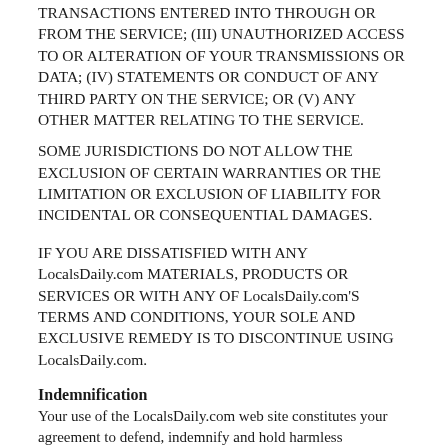TRANSACTIONS ENTERED INTO THROUGH OR FROM THE SERVICE; (iii) UNAUTHORIZED ACCESS TO OR ALTERATION OF YOUR TRANSMISSIONS OR DATA; (iv) STATEMENTS OR CONDUCT OF ANY THIRD PARTY ON THE SERVICE; OR (v) ANY OTHER MATTER RELATING TO THE SERVICE.
SOME JURISDICTIONS DO NOT ALLOW THE EXCLUSION OF CERTAIN WARRANTIES OR THE LIMITATION OR EXCLUSION OF LIABILITY FOR INCIDENTAL OR CONSEQUENTIAL DAMAGES.
IF YOU ARE DISSATISFIED WITH ANY LocalsDaily.com MATERIALS, PRODUCTS OR SERVICES OR WITH ANY OF LocalsDaily.com'S TERMS AND CONDITIONS, YOUR SOLE AND EXCLUSIVE REMEDY IS TO DISCONTINUE USING LocalsDaily.com.
Indemnification
Your use of the LocalsDaily.com web site constitutes your agreement to defend, indemnify and hold harmless